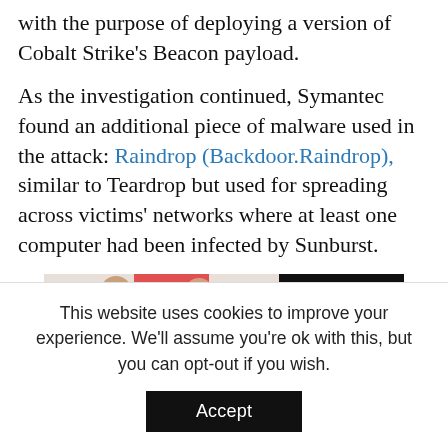with the purpose of deploying a version of Cobalt Strike's Beacon payload.
As the investigation continued, Symantec found an additional piece of malware used in the attack: Raindrop (Backdoor.Raindrop), similar to Teardrop but used for spreading across victims' networks where at least one computer had been infected by Sunburst.
[Figure (photo): Advertisement image showing a retail worker with a tablet POS system helping a customer, with Zebra rugged tablet devices on the right, and text 'Introducing the']
This website uses cookies to improve your experience. We'll assume you're ok with this, but you can opt-out if you wish.